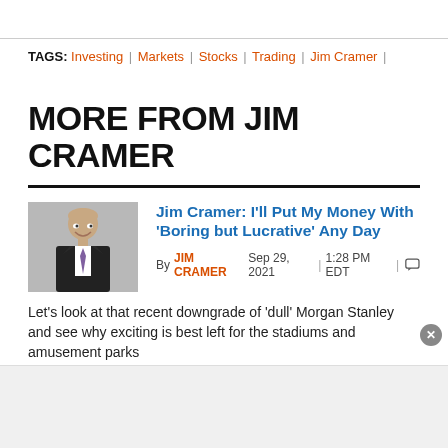TAGS: Investing | Markets | Stocks | Trading | Jim Cramer |
MORE FROM JIM CRAMER
Jim Cramer: I'll Put My Money With 'Boring but Lucrative' Any Day
By JIM CRAMER  Sep 29, 2021  |  1:28 PM EDT  |
Let's look at that recent downgrade of 'dull' Morgan Stanley and see why exciting is best left for the stadiums and amusement parks